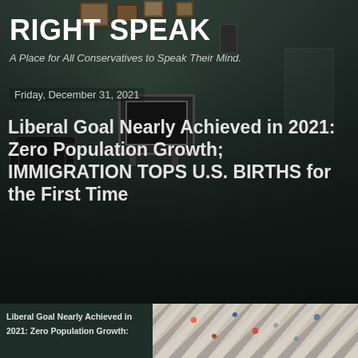[Figure (photo): Dark atmospheric room with vintage television on a stand, armchair, and picture frames on the wall — serves as hero background image.]
RIGHT SPEAK
A Place for All Conservatives to Speak Their Mind.
Friday, December 31, 2021
Liberal Goal Nearly Achieved in 2021: Zero Population Growth; IMMIGRATION TOPS U.S. BIRTHS for the First Time
Liberal Goal Nearly Achieved in 2021: Zero Population Growth:
[Figure (photo): Aerial view of a crowded zebra crossing with many pedestrians visible from above.]